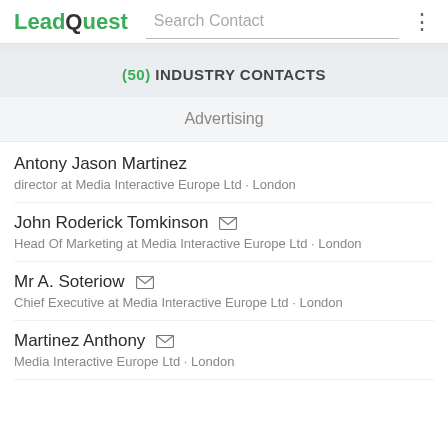LeadQuest  Search Contact
(50) INDUSTRY CONTACTS
Advertising
Antony Jason Martinez
director at Media Interactive Europe Ltd · London
John Roderick Tomkinson [email icon]
Head Of Marketing at Media Interactive Europe Ltd · London
Mr A. Soteriow [email icon]
Chief Executive at Media Interactive Europe Ltd · London
Martinez Anthony [email icon]
Media Interactive Europe Ltd · London